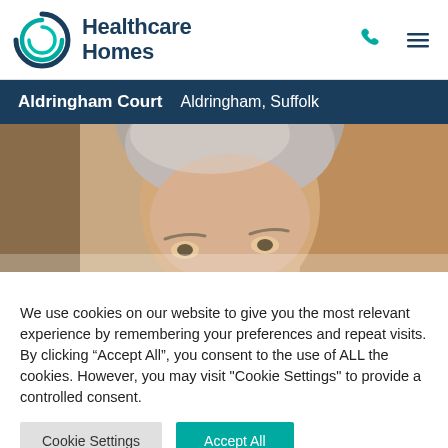[Figure (logo): Healthcare Homes logo with circular teal swirl icon and dark blue text]
Aldringham Court   Aldringham, Suffolk
[Figure (photo): Close-up photo of an elderly woman with grey hair, looking upward, warm lighting]
We use cookies on our website to give you the most relevant experience by remembering your preferences and repeat visits. By clicking “Accept All”, you consent to the use of ALL the cookies. However, you may visit "Cookie Settings" to provide a controlled consent.
Cookie Settings
Accept All